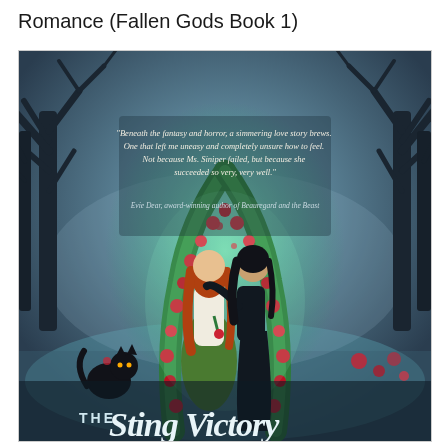Romance (Fallen Gods Book 1)
[Figure (illustration): Book cover for 'The Sting Victory' (Fallen Gods Book 1). Dark fantasy illustration showing two women standing under a glowing green arch decorated with red roses, surrounded by bare trees in a misty blue-grey forest. One woman has red/auburn hair and wears a white top with green skirt, holding a rose. The other has dark hair and wears a black outfit, reaching toward the first. A black cat sits at lower left. At the top, a quote reads: 'Beneath the fantasy and horror, a simmering love story brews. One that left me uneasy and completely unsure how to feel. Not because Ms. Siniper failed, but because she succeeded so very, very well.' - Evie Dear, award-winning author of Beauregard and the Beast. At the bottom, title text reads 'THE Sting Victory' in stylized script.]